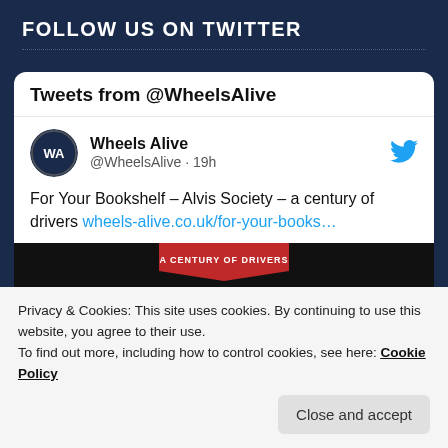FOLLOW US ON TWITTER
[Figure (screenshot): Twitter widget showing Tweets from @WheelsAlive with a tweet by Wheels Alive (@WheelsAlive · 19h) reading: For Your Bookshelf – Alvis Society – a century of drivers wheels-alive.co.uk/for-your-books… with a book cover image showing 'A CENTURY OF DRIVERS SOCIETY']
Privacy & Cookies: This site uses cookies. By continuing to use this website, you agree to their use.
To find out more, including how to control cookies, see here: Cookie Policy
Close and accept